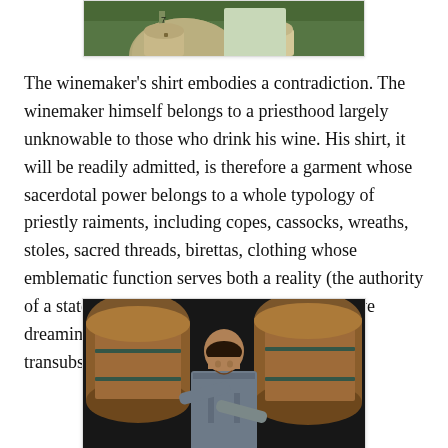[Figure (photo): Top portion of a photo showing two people outdoors, cropped at the bottom of the page showing only their lower torsos and surroundings with green foliage in background.]
The winemaker's shirt embodies a contradiction. The winemaker himself belongs to a priesthood largely unknowable to those who drink his wine. His shirt, it will be readily admitted, is therefore a garment whose sacerdotal power belongs to a whole typology of priestly raiments, including copes, cassocks, wreaths, stoles, sacred threads, birettas, clothing whose emblematic function serves both a reality (the authority of a state religion) and a condition of submissive dreaming, a rêve from which the element of transubstantion is never far.
[Figure (photo): A young man smiling, leaning against large oak wine barrels in what appears to be a winery cellar or barrel room. He is wearing a blue/grey button-up shirt with arms crossed.]